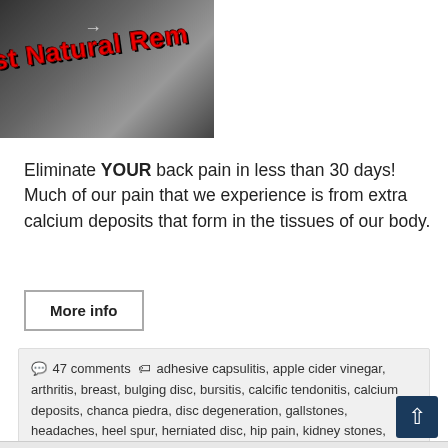[Figure (photo): Partial image showing a grayscale photo of what appears to be a spine/neck X-ray or body image with red bold text overlay reading 'st Natural Rem' (partially cropped), and a small arrow icon near the top.]
Eliminate YOUR back pain in less than 30 days! Much of our pain that we experience is from extra calcium deposits that form in the tissues of our body.
More info
💬 47 comments 🏷 adhesive capsulitis, apple cider vinegar, arthritis, breast, bulging disc, bursitis, calcific tendonitis, calcium deposits, chanca piedra, disc degeneration, gallstones, headaches, heel spur, herniated disc, hip pain, kidney stones, knee pain, kyphosis, low back pain, magnesium, mid back pain, neck pain, pinched nerve, poor posture, rotator cuff, scar tissue, sciatica, sleeping, stiff neck, tendonitis, wry neck